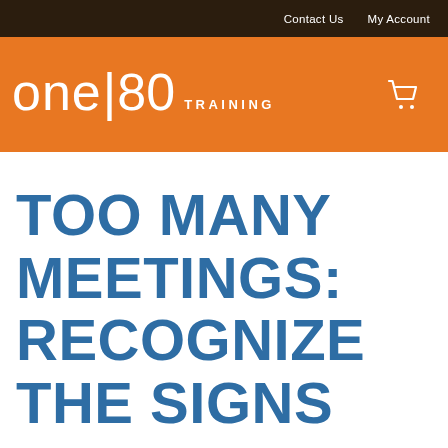Contact Us   My Account
[Figure (logo): one|80 TRAINING logo on orange background with shopping cart icon]
TOO MANY MEETINGS: RECOGNIZE THE SIGNS